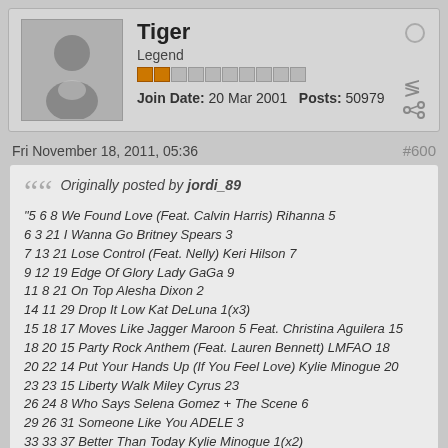Tiger
Legend
Join Date: 20 Mar 2001   Posts: 50979
Fri November 18, 2011, 05:36
#600
Originally posted by jordi_89
"5 6 8 We Found Love (Feat. Calvin Harris) Rihanna 5
6 3 21 I Wanna Go Britney Spears 3
7 13 21 Lose Control (Feat. Nelly) Keri Hilson 7
9 12 19 Edge Of Glory Lady GaGa 9
11 8 21 On Top Alesha Dixon 2
14 11 29 Drop It Low Kat DeLuna 1(x3)
15 18 17 Moves Like Jagger Maroon 5 Feat. Christina Aguilera 15
18 20 15 Party Rock Anthem (Feat. Lauren Bennett) LMFAO 18
20 22 14 Put Your Hands Up (If You Feel Love) Kylie Minogue 20
23 23 15 Liberty Walk Miley Cyrus 23
26 24 8 Who Says Selena Gomez + The Scene 6
29 26 31 Someone Like You ADELE 3
33 33 37 Better Than Today Kylie Minogue 1(x2)
34 34 43 Do It Like A Dude Jessie J 1(x3)
35 35 51 S&M Rihanna 1(x8)